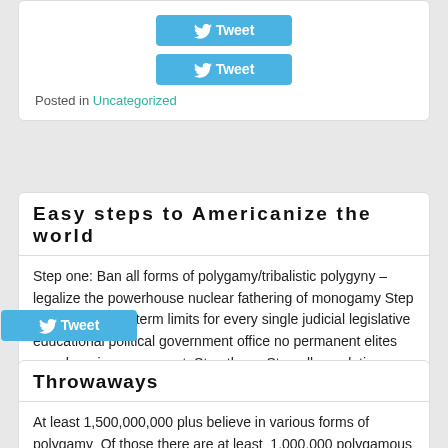[Figure (screenshot): Twitter Tweet button (blue)]
[Figure (screenshot): Twitter Tweet button (blue)]
Posted in Uncategorized
Easy steps to Americanize the world
Step one: Ban all forms of polygamy/tribalistic polygyny – legalize the powerhouse nuclear fathering of monogamy Step two: : Revolving term limits for every single judicial legislative educational political government office no permanent elites anywhere in government. Step three: Stop all population movement worldwide. Population movement accelerates all the problems which keep both in and out societies from taking responsibility for themselves, the fuel for fatherlessness, addiction, poverty and violence
[Figure (screenshot): Twitter Tweet button overlay (blue)]
Throwaways
At least 1,500,000,000 plus believe in various forms of polygamy  Of those there are at least  1,000,000 polygamous unions  equals  1,000,000 ruling class males plus up to 1,000,000 wives (or more) equals up to 2,000,000